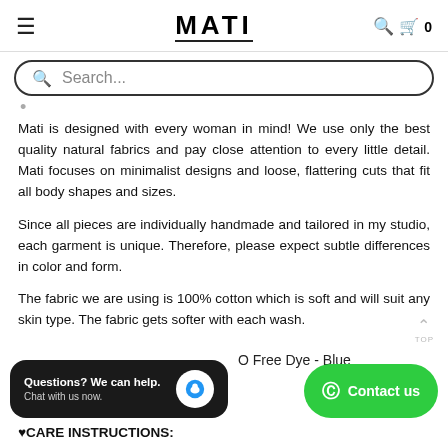MATI
Search...
Mati is designed with every woman in mind! We use only the best quality natural fabrics and pay close attention to every little detail. Mati focuses on minimalist designs and loose, flattering cuts that fit all body shapes and sizes.
Since all pieces are individually handmade and tailored in my studio, each garment is unique. Therefore, please expect subtle differences in color and form.
The fabric we are using is 100% cotton which is soft and will suit any skin type. The fabric gets softer with each wash.
Questions? We can help. Chat with us now.
O Free Dye - Blue
Contact us
♥CARE INSTRUCTIONS: